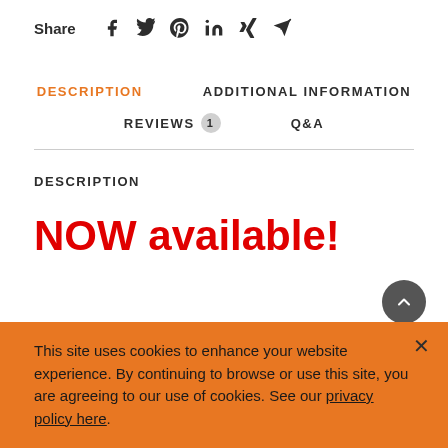Share
DESCRIPTION   ADDITIONAL INFORMATION
REVIEWS 1   Q&A
DESCRIPTION
NOW available!
This site uses cookies to enhance your website experience. By continuing to browse or use this site, you are agreeing to our use of cookies. See our privacy policy here.